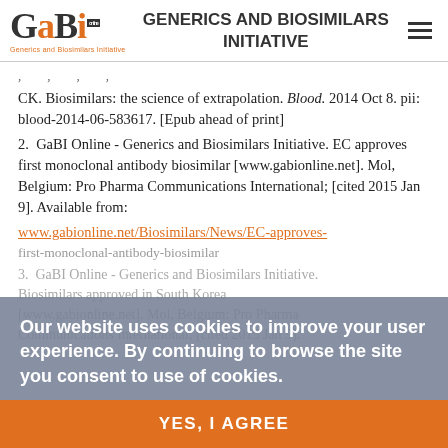GENERICS AND BIOSIMILARS INITIATIVE
CK. Biosimilars: the science of extrapolation. Blood. 2014 Oct 8. pii: blood-2014-06-583617. [Epub ahead of print]
2. GaBI Online - Generics and Biosimilars Initiative. EC approves first monoclonal antibody biosimilar [www.gabionline.net]. Mol, Belgium: Pro Pharma Communications International; [cited 2015 Jan 9]. Available from: www.gabionline.net/Biosimilars/News/EC-approves-first-monoclonal-antibody-biosimilar
3. GaBI Online - Generics and Biosimilars Initiative. Biosimilars approved in South Korea [www.gabionline.net]. Mol, Belgium: Pro Pharma Communications International; [cited 2015 Jan 9]. Available from: www.gabionline.net/Biosimilars/General/Biosimilars-
Our website uses cookies to improve your user experience. By continuing to browse the site you consent to use of cookies.
YES, I AGREE